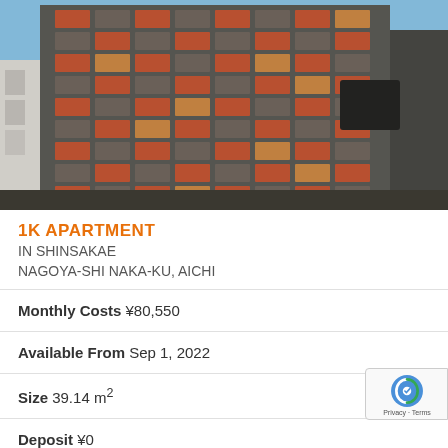[Figure (photo): Exterior photo of a tall multi-story apartment building with red/brown and grey facade, blue sky background, viewed from street level at an angle.]
1K APARTMENT IN SHINSAKAE NAGOYA-SHI NAKA-KU, AICHI
Monthly Costs ¥80,550
Available From Sep 1, 2022
Size 39.14 m²
Deposit ¥0